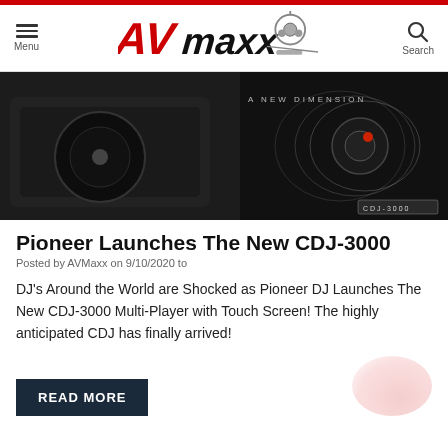AVMaxx — Menu | Search
[Figure (photo): Dark promotional banner image of Pioneer CDJ-3000 DJ media player with text 'A NEW DIMENSION' and 'CDJ-3000' label]
Pioneer Launches The New CDJ-3000
Posted by AVMaxx on 9/10/2020 to
DJ's Around the World are Shocked as Pioneer DJ Launches The New CDJ-3000 Multi-Player with Touch Screen! The highly anticipated CDJ has finally arrived!
READ MORE